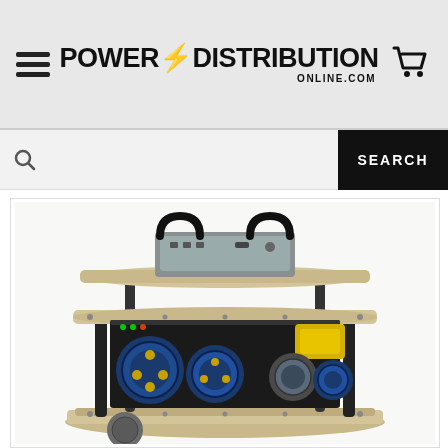POWER DISTRIBUTION ONLINE.COM
SEARCH
[Figure (photo): A portable power distribution unit (PDU) with a two-shelf metal frame, multiple industrial blue and yellow circular electrical connectors/sockets mounted on the sides, black carrying handles on top, and a gray control panel on top shelf. The unit sits on a beige/cream colored platform with black corner posts.]